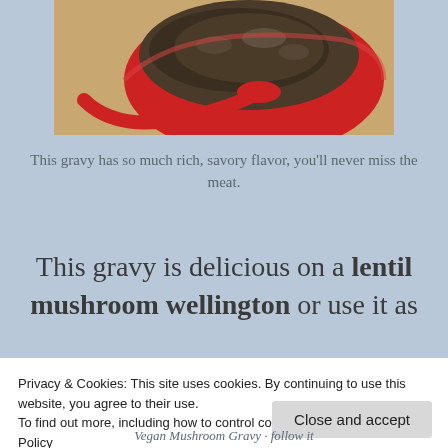[Figure (photo): Close-up photo of a red ceramic bowl with a red spoon, containing dark mushroom gravy, on a wooden surface.]
This gravy has so much rich, savory flavor, you'll never miss the meat.
This gravy is delicious on a lentil mushroom wellington or use it as
Privacy & Cookies: This site uses cookies. By continuing to use this website, you agree to their use.
To find out more, including how to control cookies, see here: Cookie Policy
Vegan Mushroom Gravy - follow it